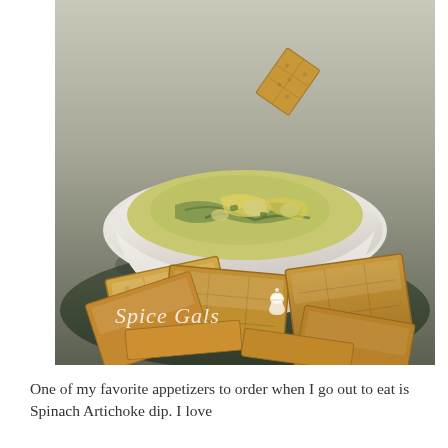[Figure (photo): A white bowl filled with spinach artichoke dip topped with melted cheese and a cracker sticking out, surrounded by golden wheat crackers on a dark green plate. A watermark reads 'Spice Gals' with a cupcake icon in white italic text at the bottom left of the image.]
One of my favorite appetizers to order when I go out to eat is Spinach Artichoke dip. I love...